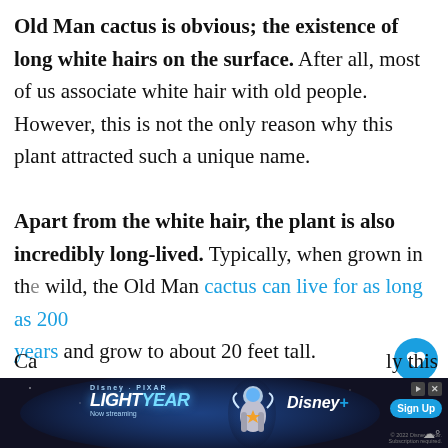Old Man cactus is obvious; the existence of long white hairs on the surface. After all, most of us associate white hair with old people. However, this is not the only reason why this plant attracted such a unique name.
Apart from the white hair, the plant is also incredibly long-lived. Typically, when grown in the wild, the Old Man cactus can live for as long as 200 years and grow to about 20 feet tall.
[Figure (other): UI overlay with heart/like button (blue circle), share button, count badge '2', and a 'What's Next' card showing a thumbnail image with text 'How Long Does An...']
[Figure (other): Disney Pixar Lightyear advertisement banner with Buzz Lightyear character, Disney+ logo, Sign Up button, play/close icons, and fine print text 'Now streaming'.]